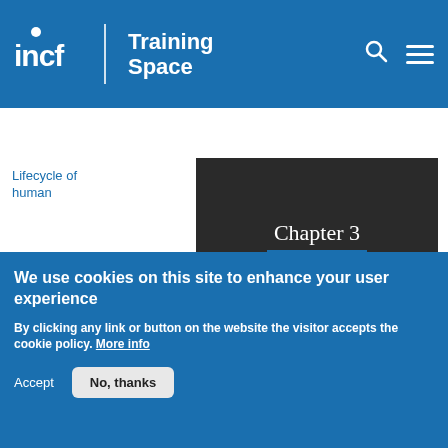incf | Training Space
Lifecycle of human
[Figure (screenshot): Dark slide showing Chapter 3 Data Security with subtitle Difficulty level: beginner/intermediate]
electroencephalography/event related potential data
We use cookies on this site to enhance your user experience
By clicking any link or button on the website the visitor accepts the cookie policy. More info
Accept  No, thanks